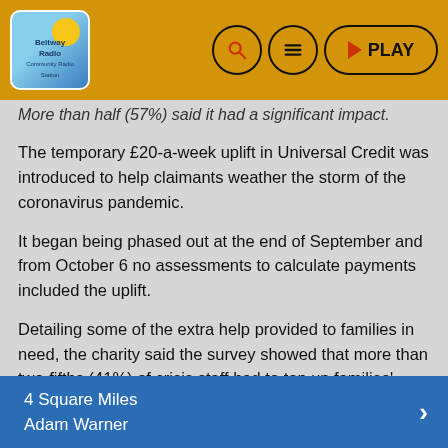Beltway Radio | PLAY
More than half (57%) said it had a significant impact.
The temporary £20-a-week uplift in Universal Credit was introduced to help claimants weather the storm of the coronavirus pandemic.
It began being phased out at the end of September and from October 6 no assessments to calculate payments included the uplift.
Detailing some of the extra help provided to families in need, the charity said the survey showed that more than two-fifths (41%) of crisis staff had to top up families' energy meters, almost a fifth (17%) negotiated with energy companies to help families manage bills, and nearly one in 10 (9%) donated food from their own cupboards.
4 Square Miles
Adam Warner